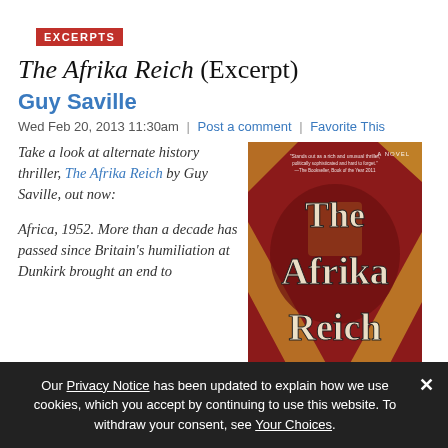EXCERPTS
The Afrika Reich (Excerpt)
Guy Saville
Wed Feb 20, 2013 11:30am | Post a comment | Favorite This
Take a look at alternate history thriller, The Afrika Reich by Guy Saville, out now:
Africa, 1952. More than a decade has passed since Britain's humiliation at Dunkirk brought an end to
[Figure (illustration): Book cover of 'The Afrika Reich' - a novel, with gothic lettering and red/gold design featuring a swastika-like pattern]
Our Privacy Notice has been updated to explain how we use cookies, which you accept by continuing to use this website. To withdraw your consent, see Your Choices.